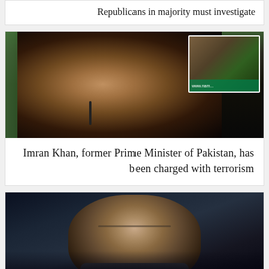Republicans in majority must investigate
[Figure (photo): Photo of Imran Khan, former Prime Minister of Pakistan, with an inset photo showing a person near a green banner with www.nam... text]
Imran Khan, former Prime Minister of Pakistan, has been charged with terrorism
[Figure (photo): Photo of a man with glasses and grey beard and hair, looking upward, against a dark background]